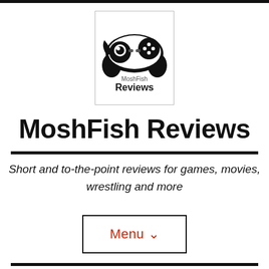[Figure (logo): MoshFish Reviews logo: game controller icon with a fish eye, text 'MoshFish Reviews' underneath, inside a rectangular border]
MoshFish Reviews
Short and to-the-point reviews for games, movies, wrestling and more
Menu ∨
Movie Review: It: Chapter Two